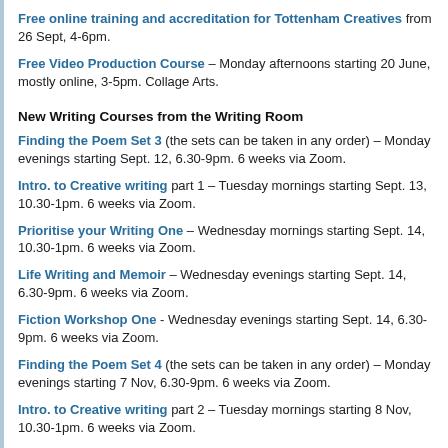Free online training and accreditation for Tottenham Creatives from 26 Sept, 4-6pm.
Free Video Production Course – Monday afternoons starting 20 June, mostly online, 3-5pm. Collage Arts.
New Writing Courses from the Writing Room
Finding the Poem Set 3 (the sets can be taken in any order) – Monday evenings starting Sept. 12, 6.30-9pm. 6 weeks via Zoom.
Intro. to Creative writing part 1 – Tuesday mornings starting Sept. 13, 10.30-1pm. 6 weeks via Zoom.
Prioritise your Writing One – Wednesday mornings starting Sept. 14, 10.30-1pm. 6 weeks via Zoom.
Life Writing and Memoir – Wednesday evenings starting Sept. 14, 6.30-9pm. 6 weeks via Zoom.
Fiction Workshop One - Wednesday evenings starting Sept. 14, 6.30-9pm. 6 weeks via Zoom.
Finding the Poem Set 4 (the sets can be taken in any order) – Monday evenings starting 7 Nov, 6.30-9pm. 6 weeks via Zoom.
Intro. to Creative writing part 2 – Tuesday mornings starting 8 Nov, 10.30-1pm. 6 weeks via Zoom.